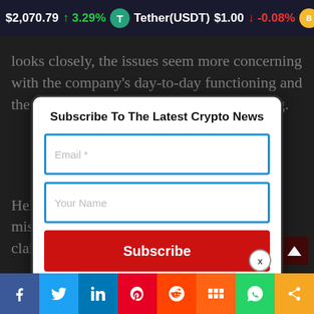$2,070.79 ↑ 3.29% Tether(USDT) $1.00 ↓ -0.08% BNB(BNB
looks closely, the issues seem more concerning with the company's day-to-day functioning and the spiral impact of the bad decision making.
[Figure (screenshot): Newsletter subscribe modal overlay with title 'Subscribe To The Latest Crypto News', email input field, name input field, and red Subscribe button with close X button]
Held highlighted that Celsius has misleading marketing tactics and claimed it was insured
Facebook | Twitter | LinkedIn | Pinterest | Reddit | Mix | WhatsApp | Share